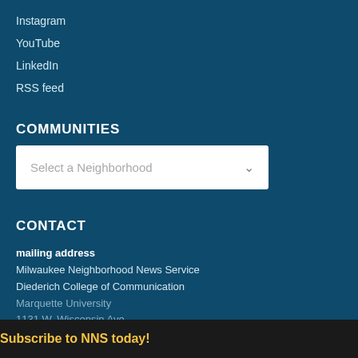Instagram
YouTube
LinkedIn
RSS feed
COMMUNITIES
Select a Neighborhood
CONTACT
mailing address
Milwaukee Neighborhood News Service
Diederich College of Communication
Marquette University
1131 W. Wisconsin Ave.
Johnston Hall 430
Milwaukee, WI 53233
Subscribe to NNS today!